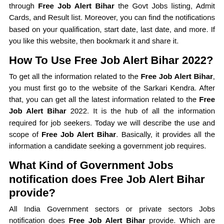through Free Job Alert Bihar the Govt Jobs listing, Admit Cards, and Result list. Moreover, you can find the notifications based on your qualification, start date, last date, and more. If you like this website, then bookmark it and share it.
How To Use Free Job Alert Bihar 2022?
To get all the information related to the Free Job Alert Bihar, you must first go to the website of the Sarkari Kendra. After that, you can get all the latest information related to the Free Job Alert Bihar 2022. It is the hub of all the information required for job seekers. Today we will describe the use and scope of Free Job Alert Bihar. Basically, it provides all the information a candidate seeking a government job requires.
What Kind of Government Jobs notification does Free Job Alert Bihar provide?
All India Government sectors or private sectors Jobs notification does Free Job Alert Bihar provide. Which are listed below.